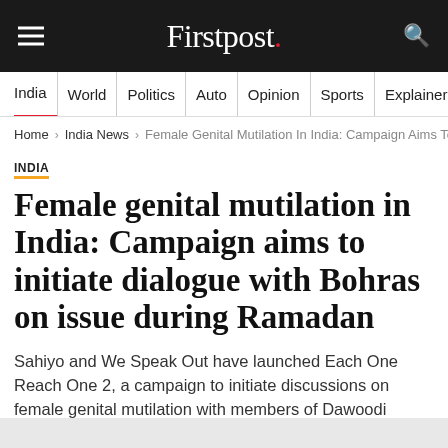Firstpost.
India | World | Politics | Auto | Opinion | Sports | Explainers
Home > India News > Female Genital Mutilation In India: Campaign Aims To I...
INDIA
Female genital mutilation in India: Campaign aims to initiate dialogue with Bohras on issue during Ramadan
Sahiyo and We Speak Out have launched Each One Reach One 2, a campaign to initiate discussions on female genital mutilation with members of Dawoodi Bohra community.
FP Staff | May 30, 2017 21:52:14 IST